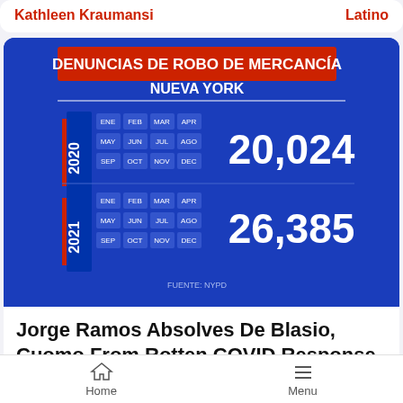Kathleen Kraumansi | Latino
[Figure (infographic): Blue infographic titled 'Denuncias De Robo De Mercancía Nueva York' showing 2020: 20,024 and 2021: 26,385 reports, with month calendars. Source: NYPD]
Jorge Ramos Absolves De Blasio, Cuomo From Rotten COVID Response
Home | Menu